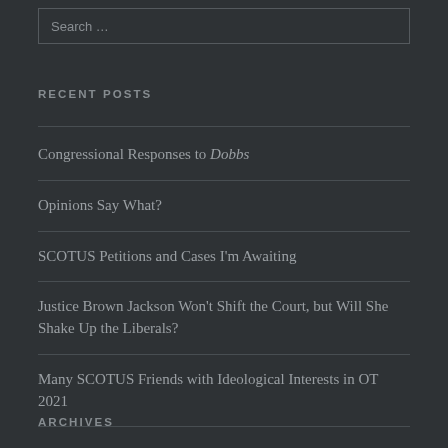Search …
RECENT POSTS
Congressional Responses to Dobbs
Opinions Say What?
SCOTUS Petitions and Cases I'm Awaiting
Justice Brown Jackson Won't Shift the Court, but Will She Shake Up the Liberals?
Many SCOTUS Friends with Ideological Interests in OT 2021
ARCHIVES